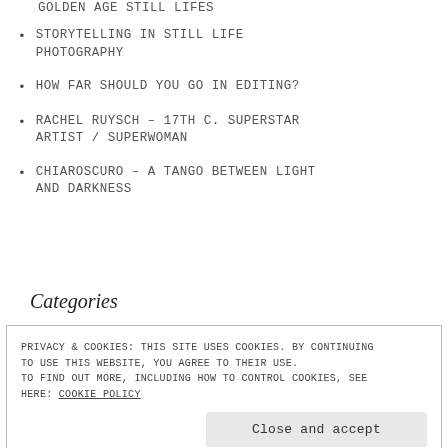GOLDEN AGE STILL LIFES
STORYTELLING IN STILL LIFE PHOTOGRAPHY
HOW FAR SHOULD YOU GO IN EDITING?
RACHEL RUYSCH – 17TH C. SUPERSTAR ARTIST / SUPERWOMAN
CHIAROSCURO – A TANGO BETWEEN LIGHT AND DARKNESS
Categories
PRIVACY & COOKIES: THIS SITE USES COOKIES. BY CONTINUING TO USE THIS WEBSITE, YOU AGREE TO THEIR USE. TO FIND OUT MORE, INCLUDING HOW TO CONTROL COOKIES, SEE HERE: COOKIE POLICY
Close and accept